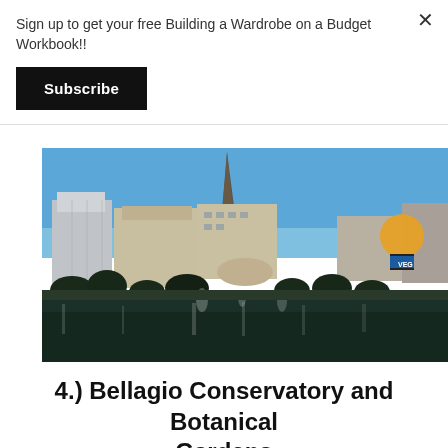Sign up to get your free Building a Wardrobe on a Budget Workbook!!
Subscribe
[Figure (photo): Photograph of the Paris Las Vegas hotel and casino featuring a replica Eiffel Tower, with the Bellagio fountains in the foreground and other Las Vegas Strip buildings visible. Clear blue sky in the background.]
4.) Bellagio Conservatory and Botanical Gardens